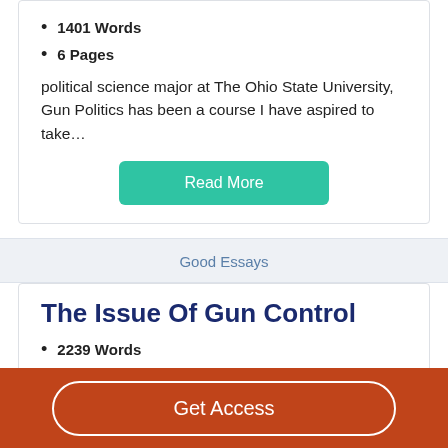1401 Words
6 Pages
political science major at The Ohio State University, Gun Politics has been a course I have aspired to take…
Read More
Good Essays
The Issue Of Gun Control
2239 Words
9 Pages
The topic of gun control is always discussed in various
Get Access